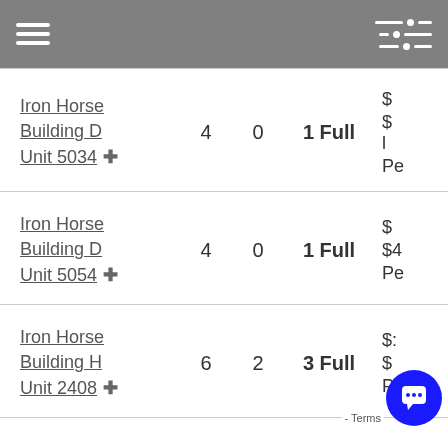Navigation header with hamburger menu and filter icon
| Property | Beds | Baths | Bathrooms Type | Price |
| --- | --- | --- | --- | --- |
| Iron Horse Building D Unit 5034 | 4 | 0 | 1 Full | $...  $(...  Pe... |
| Iron Horse Building D Unit 5054 | 4 | 0 | 1 Full | $...  $4...  Pe... |
| Iron Horse Building H Unit 2408 | 6 | 2 | 3 Full | $:...  $...  Pe... |
| Iron Horse Building J | 9 | 2 | 1 Full | $...  $... |